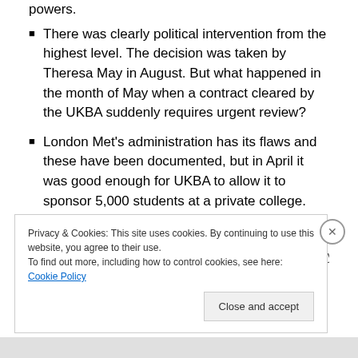powers.
There was clearly political intervention from the highest level. The decision was taken by Theresa May in August. But what happened in the month of May when a contract cleared by the UKBA suddenly requires urgent review?
London Met's administration has its flaws and these have been documented, but in April it was good enough for UKBA to allow it to sponsor 5,000 students at a private college. What changed and why?
Update 25 September According to a letter from Lynne
Privacy & Cookies: This site uses cookies. By continuing to use this website, you agree to their use. To find out more, including how to control cookies, see here: Cookie Policy
Close and accept